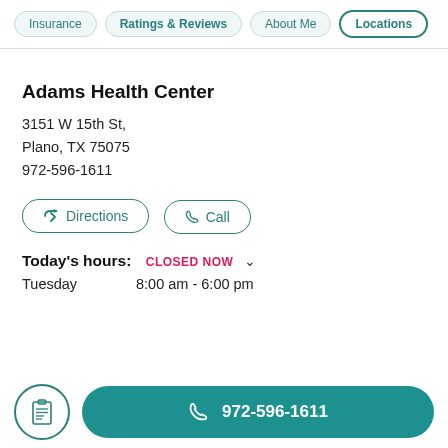Insurance | Ratings & Reviews | About Me | Locations
Adams Health Center
3151 W 15th St,
Plano, TX 75075
972-596-1611
Directions
Call
Today's hours: CLOSED NOW
Tuesday  8:00 am - 6:00 pm
972-596-1611